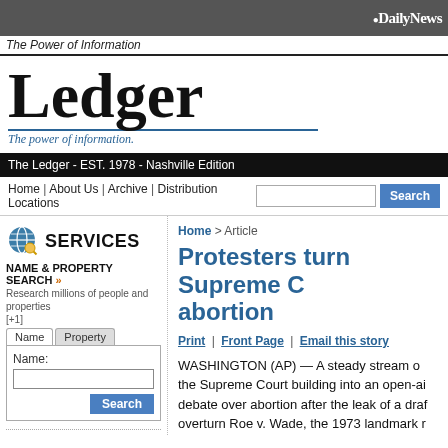Daily News
The Power of Information
Ledger
The power of information.
The Ledger - EST. 1978 - Nashville Edition
Home | About Us | Archive | Distribution Locations
SERVICES
NAME & PROPERTY SEARCH » Research millions of people and properties [+1]
FRONT PAGE NEWS
Home > Article
Protesters turn Supreme Court abortion
Print | Front Page | Email this story
WASHINGTON (AP) — A steady stream of the Supreme Court building into an open-air debate over abortion after the leak of a draft overturn Roe v. Wade, the 1973 landmark r
Both supporters and foes of abortion rights